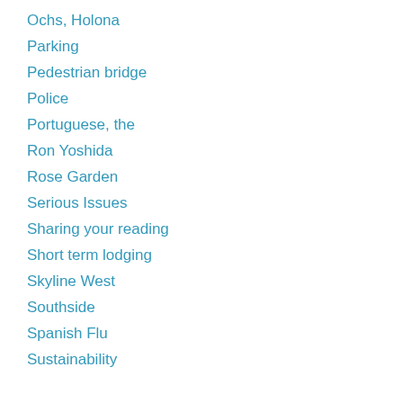Ochs, Holona
Parking
Pedestrian bridge
Police
Portuguese, the
Ron Yoshida
Rose Garden
Serious Issues
Sharing your reading
Short term lodging
Skyline West
Southside
Spanish Flu
Sustainability